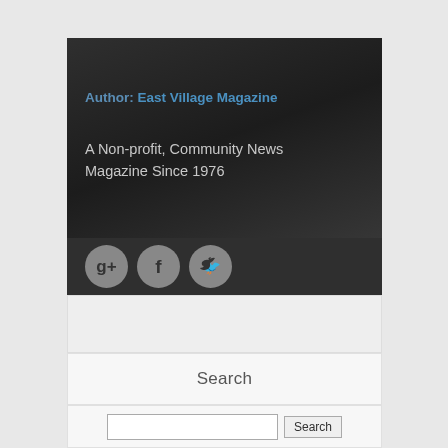Author: East Village Magazine
A Non-profit, Community News Magazine Since 1976
[Figure (infographic): Three circular social media icons: Google+, Facebook, and Twitter, displayed on a dark background bar]
Search
Search input field with Search button